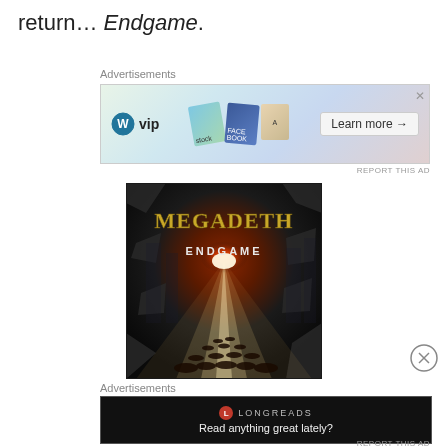return… Endgame.
Advertisements
[Figure (screenshot): WordPress VIP advertisement banner with social media card icons and a 'Learn more →' button]
[Figure (photo): Megadeth Endgame album cover — dark atmospheric image with massive crowd and light beams, band name in gold gothic lettering and ENDGAME subtitle]
[Figure (other): Close/dismiss button (circled X icon)]
Advertisements
[Figure (screenshot): Longreads advertisement — black background with Longreads logo and text 'Read anything great lately?']